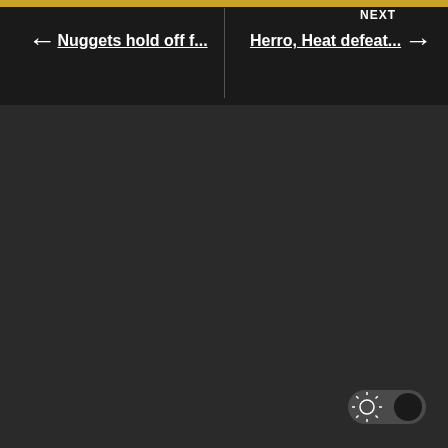[Figure (screenshot): Navigation bar with gold top border, left arrow, right arrow, 'NEXT' label, and two navigation links: 'Nuggets hold off f...' and 'Herro, Heat defeat...']
Nuggets hold off f...
Herro, Heat defeat...
[Figure (other): Dark mode toggle switch in the bottom-right corner, showing a sun icon on the left and a dark circular knob on the right, indicating dark mode is active]